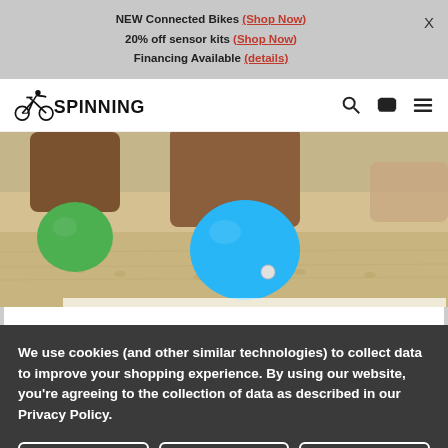NEW Connected Bikes (Shop Now) 20% off sensor kits (Shop Now) Financing Available (details)
[Figure (logo): Spinning brand logo with cyclist icon]
[Figure (photo): People on a sandy beach holding colorful inflatable balls (green and blue), in a low angle shot showing the sandy ground and the balls being gripped by users]
We use cookies (and other similar technologies) to collect data to improve your shopping experience. By using our website, you're agreeing to the collection of data as described in our Privacy Policy.
Settings
Reject all
Accept All Cookies